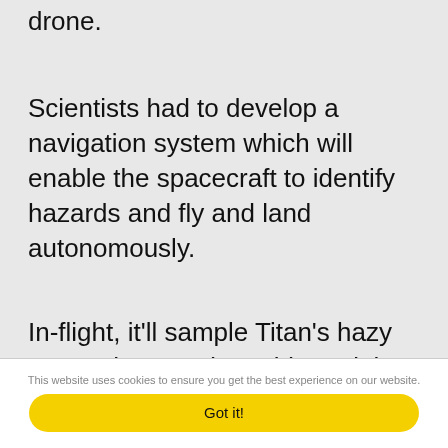drone.
Scientists had to develop a navigation system which will enable the spacecraft to identify hazards and fly and land autonomously.
In-flight, it'll sample Titan's hazy atmosphere and provide aerial images of the landscape below. However, the craft will spend most of its time on the ground, testing for biologically relevant materials.
This website uses cookies to ensure you get the best experience on our website.
Got it!